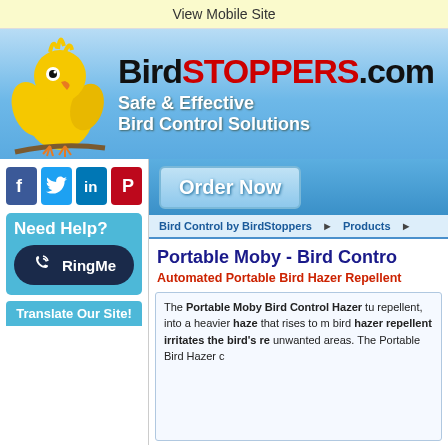View Mobile Site
[Figure (logo): BirdStoppers.com logo banner with yellow bird mascot, blue gradient background. Text: BirdSTOPPERS.com — Safe & Effective Bird Control Solutions]
[Figure (infographic): Social media icons for Facebook, Twitter, LinkedIn, Pinterest]
Need Help?
[Figure (other): RingMe button with phone icon]
Translate Our Site!
[Figure (other): Order Now button]
Bird Control by BirdStoppers ► Products ►
Portable Moby - Bird Contro
Automated Portable Bird Hazer Repellent
The Portable Moby Bird Control Hazer tu repellent, into a heavier haze that rises to m bird hazer repellent irritates the bird's re unwanted areas. The Portable Bird Hazer c